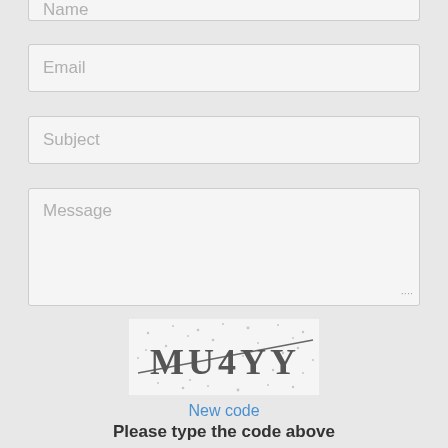Name
Email
Subject
Message
[Figure (other): CAPTCHA image showing text MU4YY with noise and diagonal line]
New code
Please type the code above